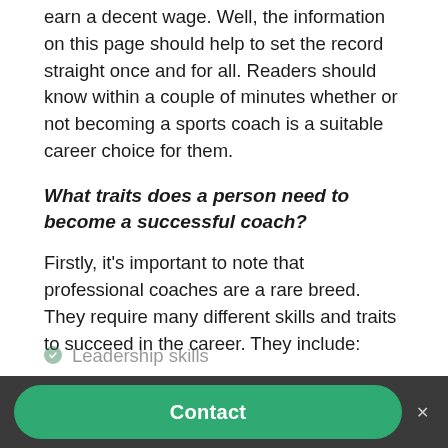earn a decent wage. Well, the information on this page should help to set the record straight once and for all. Readers should know within a couple of minutes whether or not becoming a sports coach is a suitable career choice for them.
What traits does a person need to become a successful coach?
Firstly, it's important to note that professional coaches are a rare breed. They require many different skills and traits to succeed in the career. They include:
Leadership skills
Contact